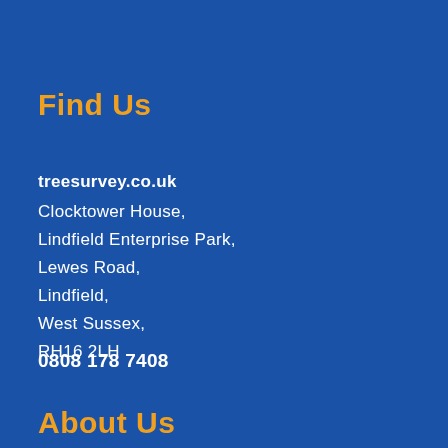Find Us
treesurvey.co.uk
Clocktower House,
Lindfield Enterprise Park,
Lewes Road,
Lindfield,
West Sussex,
RH16 2LH
0808 178 7408
About Us